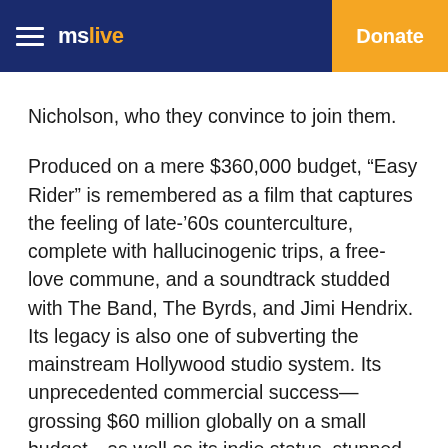mslive | Donate
Nicholson, who they convince to join them.
Produced on a mere $360,000 budget, “Easy Rider” is remembered as a film that captures the feeling of late-’60s counterculture, complete with hallucinogenic trips, a free-love commune, and a soundtrack studded with The Band, The Byrds, and Jimi Hendrix. Its legacy is also one of subverting the mainstream Hollywood studio system. Its unprecedented commercial success—grossing $60 million globally on a small budget—as well as its indie status, stunned Hollywood executives.